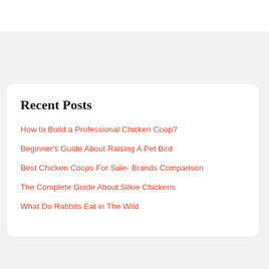Recent Posts
How to Build a Professional Chicken Coop?
Beginner's Guide About Raising A Pet Bird
Best Chicken Coops For Sale- Brands Comparison
The Complete Guide About Silkie Chickens
What Do Rabbits Eat in The Wild